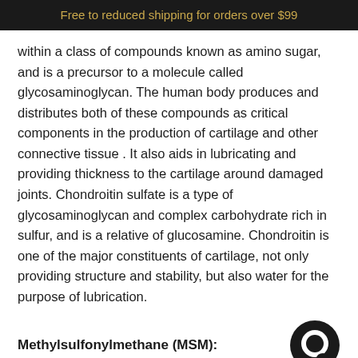Free to reduced shipping for orders over $99
within a class of compounds known as amino sugar, and is a precursor to a molecule called glycosaminoglycan. The human body produces and distributes both of these compounds as critical components in the production of cartilage and other connective tissue . It also aids in lubricating and providing thickness to the cartilage around damaged joints. Chondroitin sulfate is a type of glycosaminoglycan and complex carbohydrate rich in sulfur, and is a relative of glucosamine. Chondroitin is one of the major constituents of cartilage, not only providing structure and stability, but also water for the purpose of lubrication.
Methylsulfonylmethane (MSM):
[Figure (logo): Black circular logo with an inner white ring, resembling the letter O or a chat bubble icon]
MSM is a naturally occurring, organosulfur molecule that